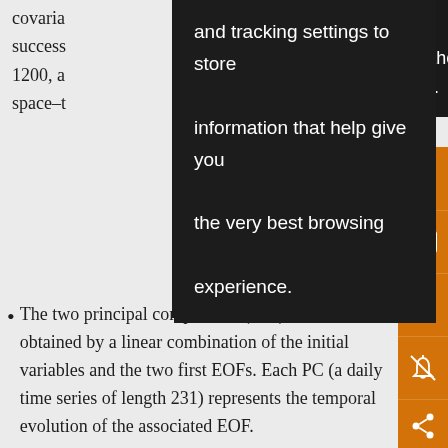covaria... success... 1200, a...nt space–t...
and tracking settings to store information that help give you the very best browsing experience.
The two principal components (PCs) can thus be obtained by a linear combination of the initial variables and the two first EOFs. Each PC (a daily time series of length 231) represents the temporal evolution of the associated EOF.
On the other hand, we have used the wavelet analysis applied to NCEP–DOE and ERA-40 reanalyses to the study of the variation of the diurnal cycle amplitude of the low-levels monsoon jet along its seasonal cycle. This well-known technique is used to decompose a time series into...